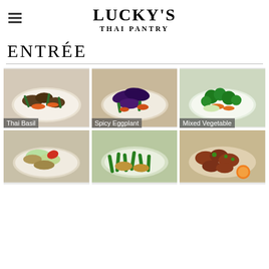LUCKY'S THAI PANTRY
ENTRÉE
[Figure (photo): Thai Basil stir-fry dish with mushrooms, green beans, carrots, and onions on a plate]
[Figure (photo): Spicy Eggplant dish with purple eggplant, carrots, and vegetables in sauce]
[Figure (photo): Mixed Vegetable dish with broccoli, carrots, cabbage, and mixed greens]
[Figure (photo): Stir-fry dish with cabbage, red peppers and chicken]
[Figure (photo): Green bean and chicken stir-fry dish]
[Figure (photo): Sweet and sour style chicken pieces with orange garnish]